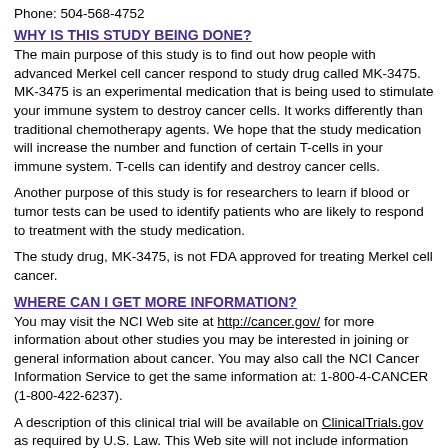Phone: 504-568-4752
WHY IS THIS STUDY BEING DONE?
The main purpose of this study is to find out how people with advanced Merkel cell cancer respond to study drug called MK-3475. MK-3475 is an experimental medication that is being used to stimulate your immune system to destroy cancer cells. It works differently than traditional chemotherapy agents. We hope that the study medication will increase the number and function of certain T-cells in your immune system. T-cells can identify and destroy cancer cells.
Another purpose of this study is for researchers to learn if blood or tumor tests can be used to identify patients who are likely to respond to treatment with the study medication.
The study drug, MK-3475, is not FDA approved for treating Merkel cell cancer.
WHERE CAN I GET MORE INFORMATION?
You may visit the NCI Web site at http://cancer.gov/ for more information about other studies you may be interested in joining or general information about cancer. You may also call the NCI Cancer Information Service to get the same information at: 1-800-4-CANCER (1-800-422-6237).
A description of this clinical trial will be available on ClinicalTrials.gov as required by U.S. Law. This Web site will not include information that can identify you. At most, the Web site will include a summary of the results. You can search this Web site at any time.